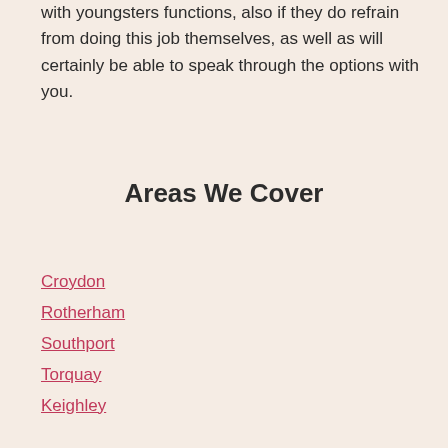with youngsters functions, also if they do refrain from doing this job themselves, as well as will certainly be able to speak through the options with you.
Areas We Cover
Croydon
Rotherham
Southport
Torquay
Keighley